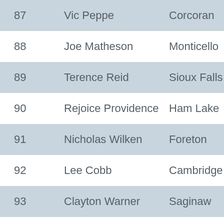| # | Name | City | State |
| --- | --- | --- | --- |
| 87 | Vic Peppe | Corcoran | MN |
| 88 | Joe Matheson | Monticello | MN |
| 89 | Terence Reid | Sioux Falls | SD |
| 90 | Rejoice Providence | Ham Lake | MN |
| 91 | Nicholas Wilken | Foreton | MN |
| 92 | Lee Cobb | Cambridge | MN |
| 93 | Clayton Warner | Saginaw | MN |
| 94 | Jason Crews | Clive | IA |